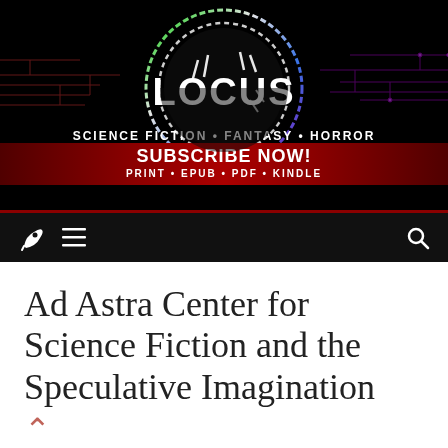[Figure (logo): Locus Magazine banner with neon glowing circle logo, text LOCUS, SCIENCE FICTION • FANTASY • HORROR, SUBSCRIBE NOW! PRINT • EPUB • PDF • KINDLE on dark background with circuit board patterns and red gradient strip]
rocket icon, hamburger menu, search icon navigation bar
Ad Astra Center for Science Fiction and the Speculative Imagination
November 22, 2021